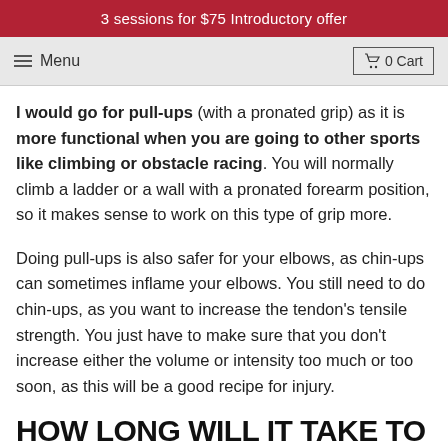3 sessions for $75 Introductory offer
Menu  0 Cart
I would go for pull-ups (with a pronated grip) as it is more functional when you are going to other sports like climbing or obstacle racing. You will normally climb a ladder or a wall with a pronated forearm position, so it makes sense to work on this type of grip more.
Doing pull-ups is also safer for your elbows, as chin-ups can sometimes inflame your elbows. You still need to do chin-ups, as you want to increase the tendon's tensile strength. You just have to make sure that you don't increase either the volume or intensity too much or too soon, as this will be a good recipe for injury.
HOW LONG WILL IT TAKE TO ACHIEVE YOUR FIRST PULL-UPS